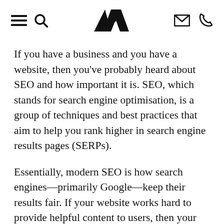[Navigation header with hamburger menu, search icon, AD logo, mail icon, phone icon]
If you have a business and you have a website, then you've probably heard about SEO and how important it is. SEO, which stands for search engine optimisation, is a group of techniques and best practices that aim to help you rank higher in search engine results pages (SERPs).
Essentially, modern SEO is how search engines—primarily Google—keep their results fair. If your website works hard to provide helpful content to users, then your